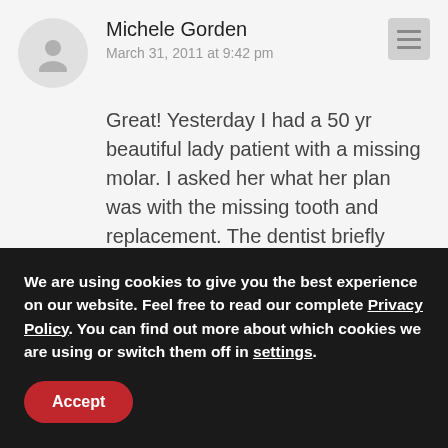[Figure (illustration): User avatar placeholder circle with a silhouette icon]
Michele Gorden
March 31, 2011 at 9:42 pm
Great! Yesterday I had a 50 yr beautiful lady patient with a missing molar. I asked her what her plan was with the missing tooth and replacement. The dentist briefly discussed it with her but she thought she would do nothing. Her condition ...changed after I logically and emotionally connected to her about the
We are using cookies to give you the best experience on our website. Feel free to read our complete Privacy Policy. You can find out more about which cookies we are using or switch them off in settings.
Accept